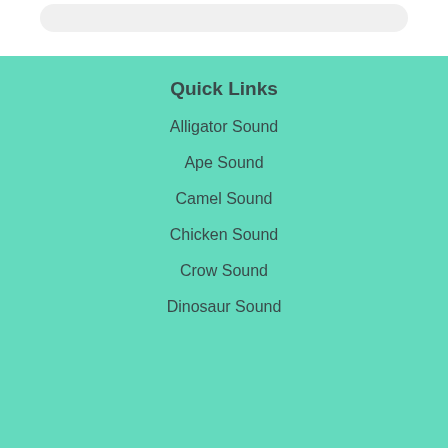Quick Links
Alligator Sound
Ape Sound
Camel Sound
Chicken Sound
Crow Sound
Dinosaur Sound